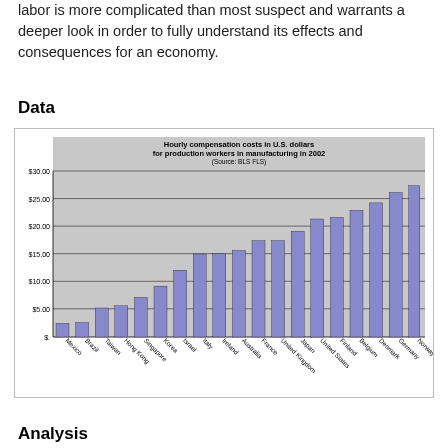labor is more complicated than most suspect and warrants a deeper look in order to fully understand its effects and consequences for an economy.
Data
[Figure (bar-chart): Hourly compensation costs in U.S. dollars for production workers in manufacturing in 2002 (Source: BLS FLS)]
Analysis